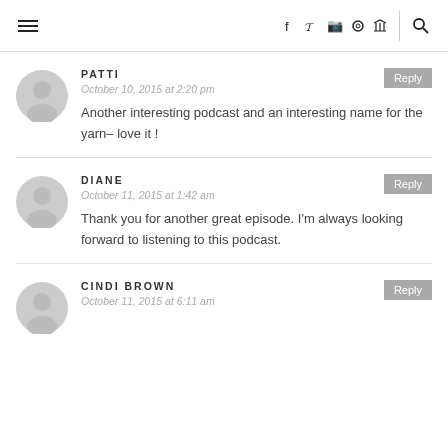Navigation bar with hamburger menu, social icons (f, twitter, instagram, pinterest, rss), and search icon
PATTI
October 10, 2015 at 2:20 pm
Another interesting podcast and an interesting name for the yarn– love it !
DIANE
October 11, 2015 at 1:42 am
Thank you for another great episode. I'm always looking forward to listening to this podcast.
CINDI BROWN
October 11, 2015 at 6:11 am